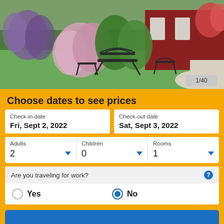[Figure (photo): Outdoor garden scene with purple and pink flowers, green lawn, wrought iron bench and chairs, and a red building in the background with a gravel path.]
Choose dates to see prices
Check-in date: Fri, Sept 2, 2022
Check-out date: Sat, Sept 3, 2022
Adults: 2, Children: 0, Rooms: 1
Are you traveling for work? Yes / No (No selected)